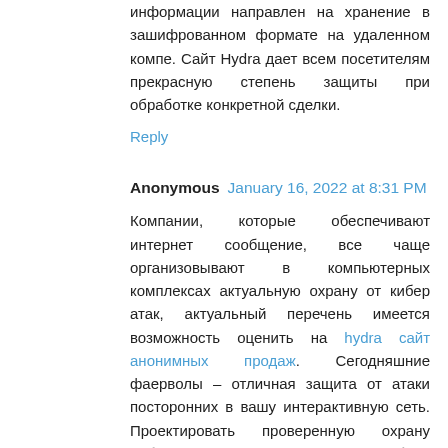информации направлен на хранение в зашифрованном формате на удаленном компе. Сайт Hydra дает всем посетителям прекрасную степень защиты при обработке конкретной сделки.
Reply
Anonymous  January 16, 2022 at 8:31 PM
Компании, которые обеспечивают интернет сообщение, все чаще организовывают в компьютерных комплексах актуальную охрану от кибер атак, актуальный перечень имеется возможность оценить на hydra сайт анонимных продаж. Сегодняшние фаерволы – отличная защита от атаки посторонних в вашу интерактивную сеть. Проектировать проверенную охрану рабочего компьютера стоит с выбора проверенного поставщика интернет услуг.
Reply
Anonymous  January 16, 2022 at 9:17 PM